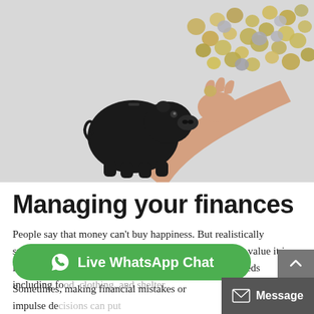[Figure (photo): A black piggy bank with a hand inserting a coin, surrounded by scattered coins on a light gray background]
Managing your finances
People say that money can't buy happiness. But realistically speaking, money does matter, no matter how much you value it in life. It is what you need to take care of all your basic needs including fo...
Sometimes, making financial mistakes or impulse decisions can put